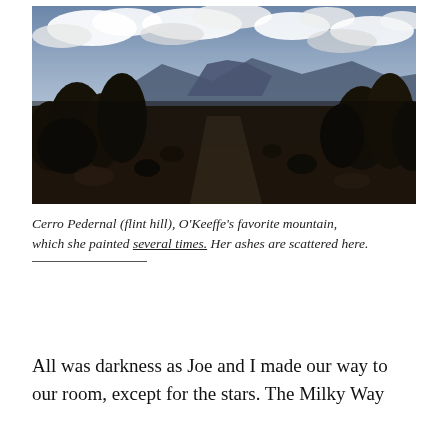[Figure (photo): Landscape photograph of Cerro Pedernal (a flat-topped mountain) in New Mexico desert scrubland under a partly cloudy sky. Dark silhouetted trees and shrubs in the foreground, mountain in the middle distance, with dramatic clouds above.]
Cerro Pedernal (flint hill), O'Keeffe's favorite mountain, which she painted several times. Her ashes are scattered here.
All was darkness as Joe and I made our way to our room, except for the stars. The Milky Way